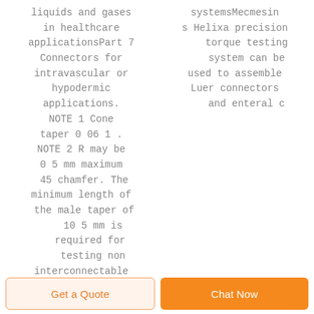liquids and gases in healthcare applicationsPart 7 Connectors for intravascular or hypodermic applications. NOTE 1 Cone taper 0 06 1 . NOTE 2 R may be 0 5 mm maximum 45 chamfer. The minimum length of the male taper of 10 5 mm is required for testing non interconnectable
systemsMecmesins Helixa precision torque testing system can be used to assemble Luer connectors and enteral c
Get a Quote
Chat Now